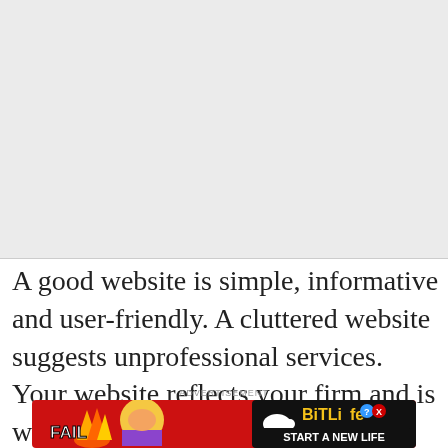[Figure (other): Large gray blank rectangle placeholder area at top of page]
A good website is simple, informative and user-friendly. A cluttered website suggests unprofessional services. Your website reflects your firm and is worth investing time and money during design. Hire
ADVERTISEMENT
[Figure (illustration): BitLife advertisement banner with cartoon character facepalming near flames, FAIL text, and Start a New Life tagline]